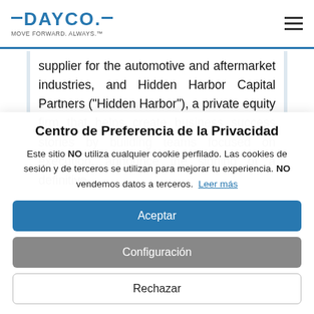[Figure (logo): Dayco logo with blue text, dashes on each side of the word DAYCO with a dot, and tagline MOVE FORWARD. ALWAYS.™]
supplier for the automotive and aftermarket industries, and Hidden Harbor Capital Partners ("Hidden Harbor"), a private equity firm that helps create business success stories by building teams focused on execution, announce the signing of a definitive
Centro de Preferencia de la Privacidad
Este sitio NO utiliza cualquier cookie perfilado. Las cookies de sesión y de terceros se utilizan para mejorar tu experiencia. NO vendemos datos a terceros. Leer más
Aceptar
Configuración
Rechazar